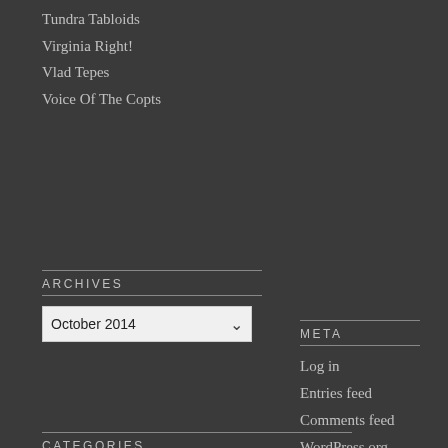Tundra Tabloids
Virginia Right!
Vlad Tepes
Voice Of The Copts
ARCHIVES
October 2014
CATEGORIES
Select Category
META
Log in
Entries feed
Comments feed
WordPress.org